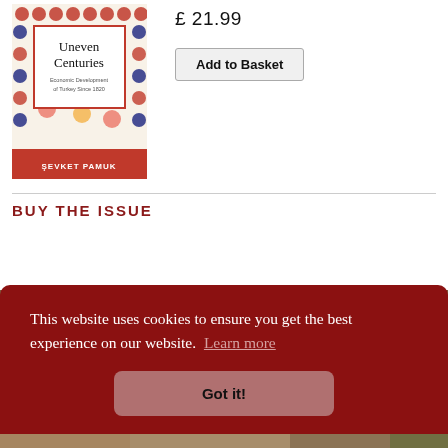[Figure (illustration): Book cover of 'Uneven Centuries: Economic Development of Turkey Since 1820' by Şevket Pamuk. Decorative patterned cover with floral motifs in red, blue and yellow. Title in white box in center, author name at bottom on red band.]
£ 21.99
Add to Basket
BUY THE ISSUE
[Figure (illustration): Partial decorative image strip at the bottom of the page, partially obscured by cookie banner.]
This website uses cookies to ensure you get the best experience on our website. Learn more
Got it!